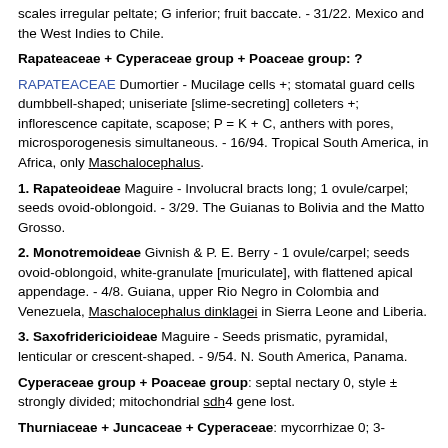scales irregular peltate; G inferior; fruit baccate. - 31/22. Mexico and the West Indies to Chile.
Rapateaceae + Cyperaceae group + Poaceae group: ?
RAPATEACEAE Dumortier - Mucilage cells +; stomatal guard cells dumbbell-shaped; uniseriate [slime-secreting] colleters +; inflorescence capitate, scapose; P = K + C, anthers with pores, microsporogenesis simultaneous. - 16/94. Tropical South America, in Africa, only Maschalocephalus.
1. Rapateoideae Maguire - Involucral bracts long; 1 ovule/carpel; seeds ovoid-oblongoid. - 3/29. The Guianas to Bolivia and the Matto Grosso.
2. Monotremoideae Givnish & P. E. Berry - 1 ovule/carpel; seeds ovoid-oblongoid, white-granulate [muriculate], with flattened apical appendage. - 4/8. Guiana, upper Rio Negro in Colombia and Venezuela, Maschalocephalus dinklagei in Sierra Leone and Liberia.
3. Saxofridericioideae Maguire - Seeds prismatic, pyramidal, lenticular or crescent-shaped. - 9/54. N. South America, Panama.
Cyperaceae group + Poaceae group: septal nectary 0, style ± strongly divided; mitochondrial sdh4 gene lost.
Thurniaceae + Juncaceae + Cyperaceae: mycorrhizae 0; 3-